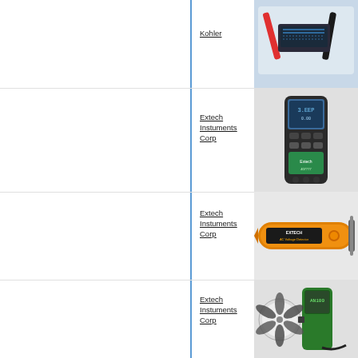Kohler    87710
[Figure (photo): Kohler product 87710 - electrical testing probes/leads on light blue background]
Extech Instuments Corp    407777
[Figure (photo): Extech Instruments 407777 - handheld digital measurement device, black with blue display]
Extech Instuments Corp    AC105
[Figure (photo): Extech Instruments AC105 - orange AC voltage detector/tester tool]
Extech Instuments Corp    AN100
[Figure (photo): Extech Instruments AN100 - green anemometer/fan air flow meter device]